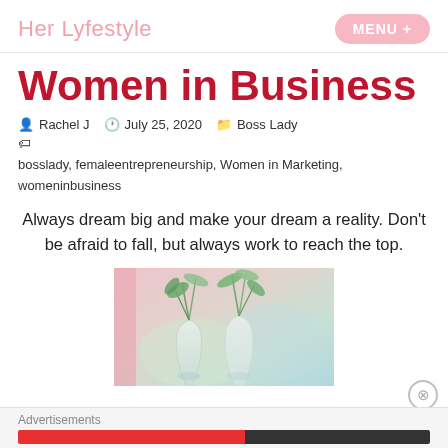Her Lyfestyle   MENU +
Women in Business
Rachel J   July 25, 2020   Boss Lady
bosslady, femaleentrepreneurship, Women in Marketing, womeninbusiness
Always dream big and make your dream a reality. Don't be afraid to fall, but always work to reach the top.
[Figure (photo): Glass vases with green plant stems/leaves on a light pink and teal background]
Advertisements